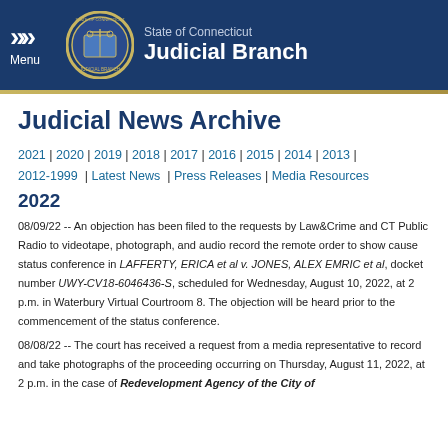State of Connecticut Judicial Branch
Judicial News Archive
2021 | 2020 | 2019 | 2018 | 2017 | 2016 | 2015 | 2014 | 2013 | 2012-1999 | Latest News | Press Releases | Media Resources
2022
08/09/22 -- An objection has been filed to the requests by Law&Crime and CT Public Radio to videotape, photograph, and audio record the remote order to show cause status conference in LAFFERTY, ERICA et al v. JONES, ALEX EMRIC et al, docket number UWY-CV18-6046436-S, scheduled for Wednesday, August 10, 2022, at 2 p.m. in Waterbury Virtual Courtroom 8. The objection will be heard prior to the commencement of the status conference.
08/08/22 -- The court has received a request from a media representative to record and take photographs of the proceeding occurring on Thursday, August 11, 2022, at 2 p.m. in the case of Redevelopment Agency of the City of